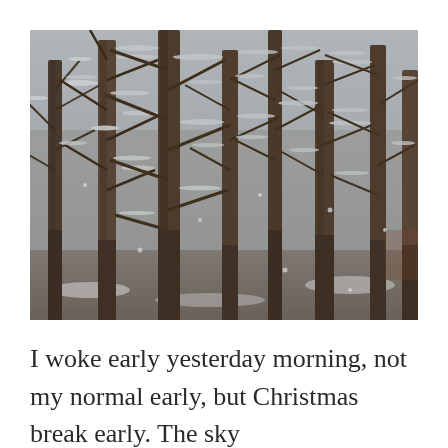[Figure (photo): Winter forest scene with snow-covered bare tree branches and trunks, overcast sky visible through the canopy, cold grey-brown tones throughout]
I woke early yesterday morning, not my normal early, but Christmas break early. The sky